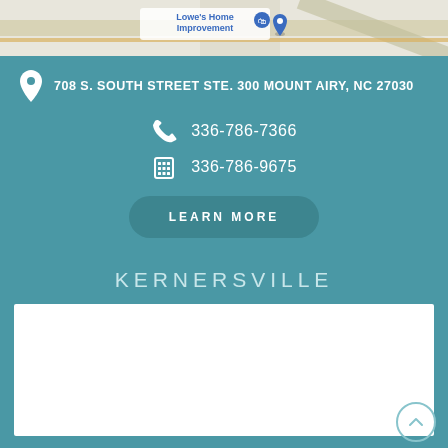[Figure (map): Google Maps partial screenshot showing Lowe's Home Improvement location with a blue map pin]
708 S. SOUTH STREET STE. 300 MOUNT AIRY, NC 27030
336-786-7366
336-786-9675
LEARN MORE
KERNERSVILLE
[Figure (map): Map image for Kernersville location (white/blank area)]